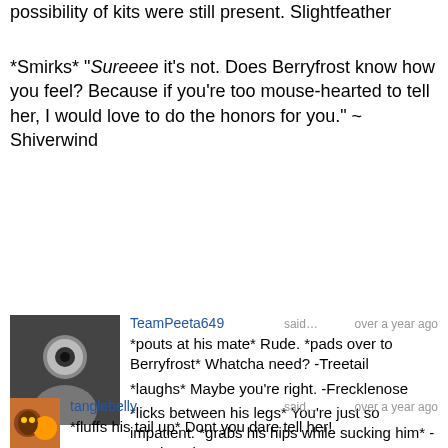possibility of kits were still present. Slightfeather
*Smirks* "Sureeee it's not. Does Berryfrost know how you feel? Because if you're too mouse-hearted to tell her, I would love to do the honors for you." ~ Shiverwind
[Figure (photo): Black and white avatar image of TeamPeeta649]
TeamPeeta649 said… over a year ago
*pouts at his mate* Rude. *pads over to Berryfrost* Whatcha need? -Treetail
*laughs* Maybe you're right. -Frecklenose
*licks between his legs* You're just so impatient. *grabs his hips while sucking him* -Featherwing
Whatever you say. *nudges him playfully* -Wrenflight
last edited over a year ago
[Figure (photo): Colored avatar image of tanglebelly]
tanglebelly said… over a year ago
*fluffs his tail up* Dont you dare tell her!